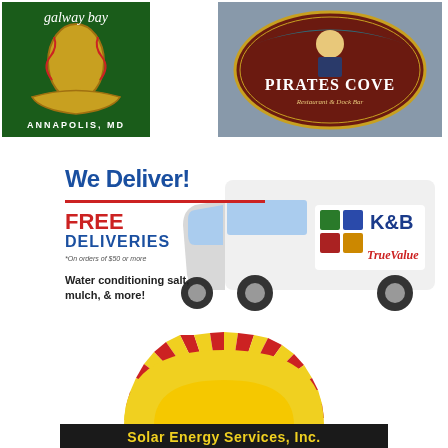[Figure (logo): Galway Bay restaurant logo - green background with Irish harp and boat design, text 'Galway Bay ANNAPOLIS, MD']
[Figure (logo): Pirates Cove Restaurant & Dock Bar logo - oval shaped dark red/brown with pirate figure and teal banner]
[Figure (infographic): K&B True Value hardware store delivery advertisement showing white delivery van. Text: We Deliver! FREE DELIVERIES *On orders of $50 or more. Water conditioning salt, mulch, & more!]
[Figure (logo): Solar Energy Services, Inc. logo showing a rising sun with red and yellow rays over a dark banner with yellow text]